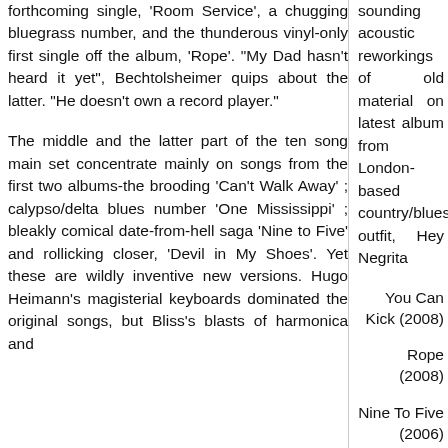forthcoming single, 'Room Service', a chugging bluegrass number, and the thunderous vinyl-only first single off the album, 'Rope'. "My Dad hasn't heard it yet", Bechtolsheimer quips about the latter. "He doesn't own a record player."
The middle and the latter part of the ten song main set concentrate mainly on songs from the first two albums-the brooding 'Can't Walk Away' ; calypso/delta blues number 'One Mississippi' ; bleakly comical date-from-hell saga 'Nine to Five' and rollicking closer, 'Devil in My Shoes'. Yet these are wildly inventive new versions. Hugo Heimann's magisterial keyboards dominated the original songs, but Bliss's blasts of harmonica and
sounding acoustic reworkings of old material on latest album from London-based country/blues outfit, Hey Negrita
You Can Kick (2008)
Rope (2008)
Nine To Five (2006)
Abandon Ship (2006)
The Buzz Above (2006)